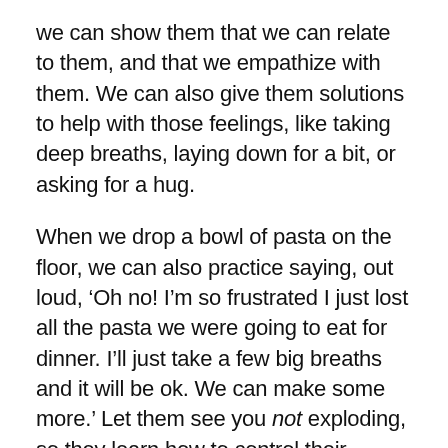we can show them that we can relate to them, and that we empathize with them. We can also give them solutions to help with those feelings, like taking deep breaths, laying down for a bit, or asking for a hug.
When we drop a bowl of pasta on the floor, we can also practice saying, out loud, ‘Oh no! I’m so frustrated I just lost all the pasta we were going to eat for dinner. I’ll just take a few big breaths and it will be ok. We can make some more.’ Let them see you not exploding, so they learn how to control their impulses, too.